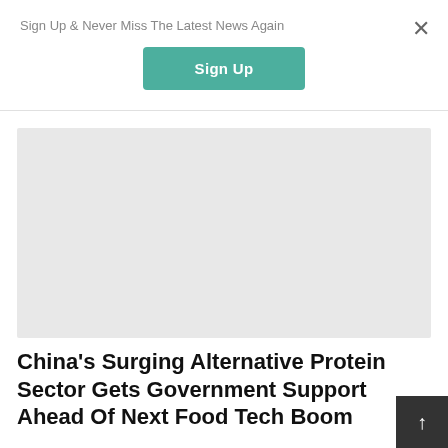Sign Up & Never Miss The Latest News Again
Sign Up
[Figure (other): Gray placeholder image area for an article thumbnail]
China's Surging Alternative Protein Sector Gets Government Support Ahead Of Next Food Tech Boom